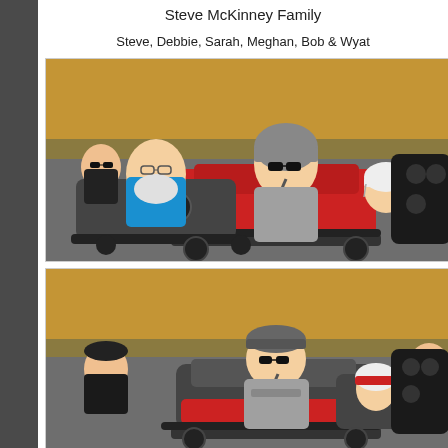Steve McKinney Family
Steve, Debbie, Sarah, Meghan, Bob & Wyat
[Figure (photo): Family members riding red go-karts on a track. An older bearded man in a blue shirt and a younger man wearing a helmet and sunglasses are visible in the foreground, along with a small child in a helmet in the go-kart. A woman with sunglasses is in the background.]
[Figure (photo): Second photo of family members on go-karts. A man wearing a flat cap and sunglasses is driving, with a small child beside him. An older bearded man in a blue shirt is visible on the right, and a woman is visible on the left.]